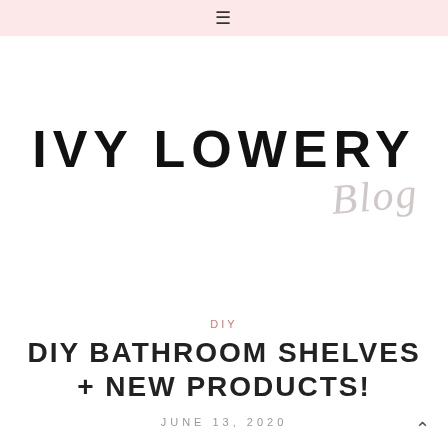≡
[Figure (logo): Ivy Lowery Blog logo — 'IVY LOWERY' in large bold black sans-serif uppercase letters, with 'blog' in light gray italic script below and to the right]
DIY
DIY BATHROOM SHELVES + NEW PRODUCTS!
JUNE 13, 2020